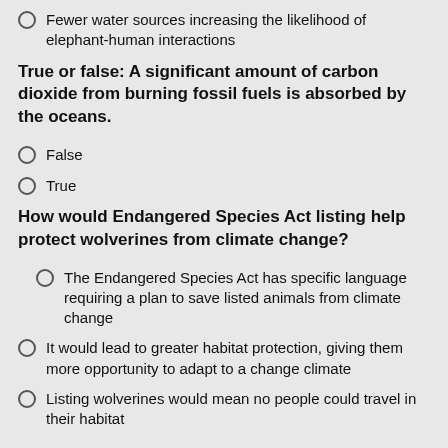Fewer water sources increasing the likelihood of elephant-human interactions
True or false: A significant amount of carbon dioxide from burning fossil fuels is absorbed by the oceans.
False
True
How would Endangered Species Act listing help protect wolverines from climate change?
The Endangered Species Act has specific language requiring a plan to save listed animals from climate change
It would lead to greater habitat protection, giving them more opportunity to adapt to a change climate
Listing wolverines would mean no people could travel in their habitat